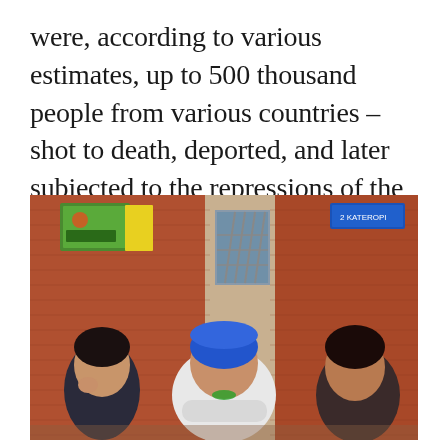were, according to various estimates, up to 500 thousand people from various countries – shot to death, deported, and later subjected to the repressions of the Soviet regime.
[Figure (photo): Three women standing in front of a red brick building. The central woman wears a blue headscarf and white shirt with her arms crossed. Two younger women flank her, one in black on the left touching her face, one on the right. A green poster and a blue sign are visible on the building in the background.]